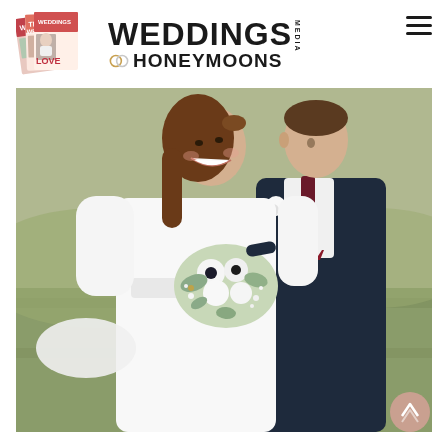[Figure (logo): Weddings & Honeymoons Media logo with stacked magazine covers on the left and brand name text on the right]
[Figure (photo): Wedding couple outdoors. Bride in white long-sleeve gown holding a white and green floral bouquet, laughing and looking up at groom. Groom in dark navy suit with burgundy tie and white boutonniere, embracing the bride. Natural grassy background.]